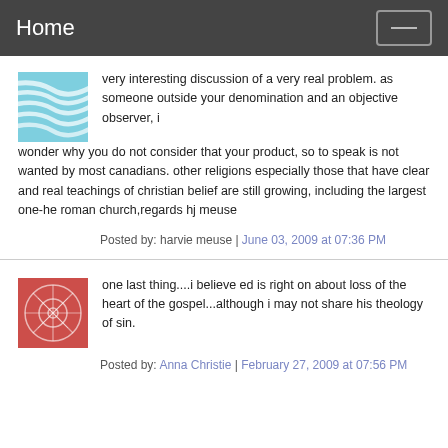Home
very interesting discussion of a very real problem. as someone outside your denomination and an objective observer, i wonder why you do not consider that your product, so to speak is not wanted by most canadians. other religions especially those that have clear and real teachings of christian belief are still growing, including the largest one-he roman church,regards hj meuse
Posted by: harvie meuse | June 03, 2009 at 07:36 PM
one last thing....i believe ed is right on about loss of the heart of the gospel...although i may not share his theology of sin.
Posted by: Anna Christie | February 27, 2009 at 07:56 PM